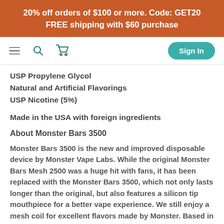20% off orders of $100 or more. Code: GET20
FREE shipping with $60 purchase
[Figure (screenshot): Navigation bar with hamburger menu, search icon, cart icon, and Sign In button]
USP Propylene Glycol
Natural and Artificial Flavorings
USP Nicotine (5%)
Made in the USA with foreign ingredients
About Monster Bars 3500
Monster Bars 3500 is the new and improved disposable device by Monster Vape Labs. While the original Monster Bars Mesh 2500 was a huge hit with fans, it has been replaced with the Monster Bars 3500, which not only lasts longer than the original, but also features a silicon tip mouthpiece for a better vape experience. We still enjoy a mesh coil for excellent flavors made by Monster. Based in Orlando, FL, Monster Vape Labs pioneered high quality salt